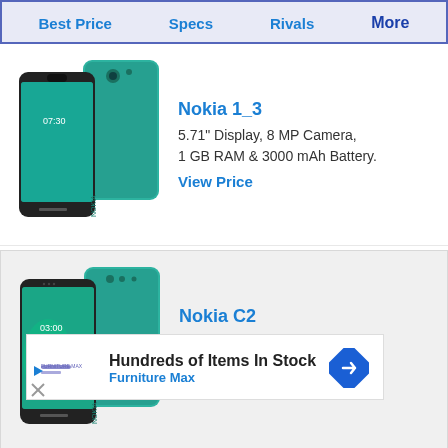Best Price | Specs | Rivals | More
[Figure (photo): Nokia 1_3 smartphone teal color, front and back view]
Nokia 1_3
5.71" Display, 8 MP Camera, 1 GB RAM & 3000 mAh Battery.
View Price
[Figure (photo): Nokia C2 smartphone teal color, front and back view]
Nokia C2
5.7" Display, 5 MP Camera, 1 GB RAM & 2800 mAh Battery.
View Price
[Figure (screenshot): Advertisement banner: Hundreds of Items In Stock - Furniture Max with navigation icon]
ery.